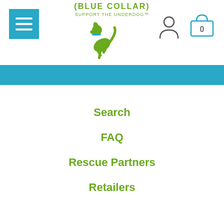[Figure (logo): Blue Collar dog brand logo with a jumping green dog silhouette and text '(BLUE COLLAR) SUPPORT THE UNDERDOG']
[Figure (illustration): Hamburger menu button (three white horizontal lines on teal/blue background square)]
[Figure (illustration): User account icon (person silhouette outline)]
[Figure (illustration): Shopping cart/bag icon with number 0 inside]
Search
FAQ
Rescue Partners
Retailers